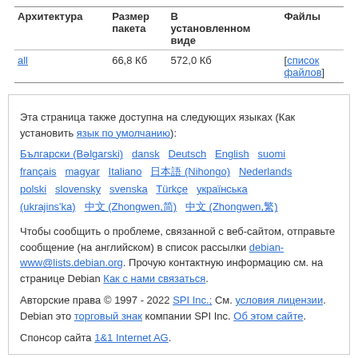| Архитектура | Размер пакета | В установленном виде | Файлы |
| --- | --- | --- | --- |
| all | 66,8 Кб | 572,0 Кб | [список файлов] |
Эта страница также доступна на следующих языках (Как установить язык по умолчанию):
Български (Bəlgarski) dansk Deutsch English suomi français magyar Italiano 日本語 (Nihongo) Nederlands polski slovensky svenska Türkçe українська (ukrajins'ka) 中文 (Zhongwen,简) 中文 (Zhongwen,繁)
Чтобы сообщить о проблеме, связанной с веб-сайтом, отправьте сообщение (на английском) в список рассылки debian-www@lists.debian.org. Прочую контактную информацию см. на странице Debian Как с нами связаться.
Авторские права © 1997 - 2022 SPI Inc.; См. условия лицензии. Debian это торговый знак компании SPI Inc. Об этом сайте.
Спонсор сайта 1&1 Internet AG.